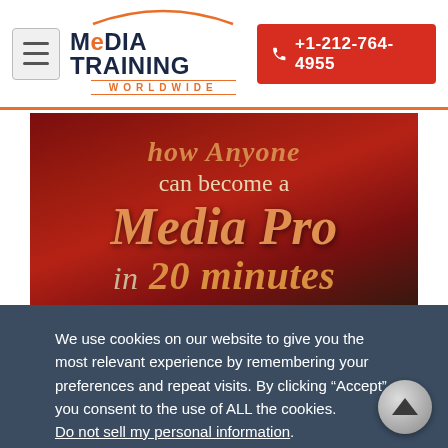Media Training Worldwide | +1-212-764-4955
[Figure (illustration): Promotional banner with text 'how Anyone can become a Media Pro in 20 minutes' on a dark red gradient background]
We use cookies on our website to give you the most relevant experience by remembering your preferences and repeat visits. By clicking “Accept”, you consent to the use of ALL the cookies. Do not sell my personal information.
Cookie settings
ACCEPT